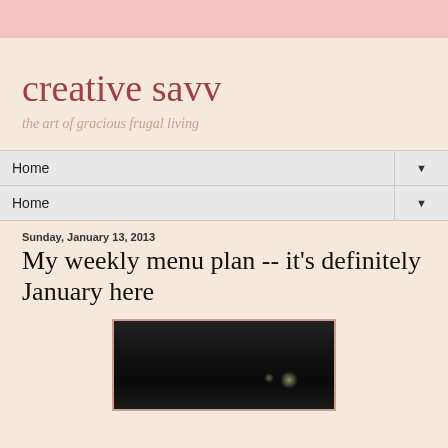creative savv
the art of gracious frugal living
Home ▼
Home ▼
Sunday, January 13, 2013
My weekly menu plan -- it's definitely January here
[Figure (photo): A dark photograph, possibly of a freezer or appliance interior, with a top toolbar/interface bar visible at the top, and light glare reflections visible in the lower portion of the dark surface.]